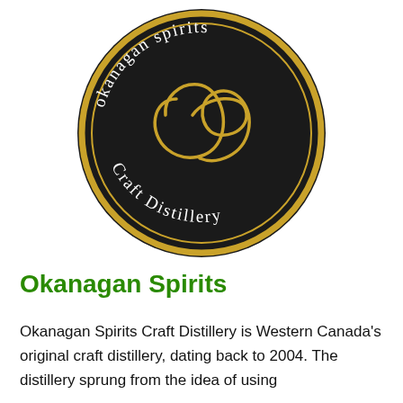[Figure (logo): Circular black badge logo with gold ring border. Text 'okanagan spirits' arcs along the top in white serif font and 'Craft Distillery' arcs along the bottom in white serif font. A stylized gold 'OS' monogram in the center.]
Okanagan Spirits
Okanagan Spirits Craft Distillery is Western Canada's original craft distillery, dating back to 2004. The distillery sprung from the idea of using